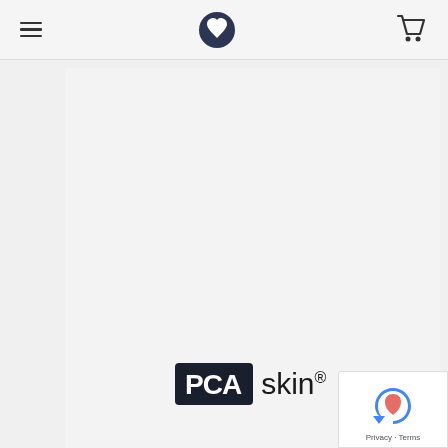[Figure (screenshot): Website navigation bar with hamburger menu icon on left, circular heart/face logo icon in center, and shopping cart icon on right, on a light gray background]
[Figure (photo): PCA Skin product bottle showing white/light gray bottle surface with PCA Skin logo (black rectangle with PCA text and 'skin' in lowercase) and volume text '7 fl oz/206.5 mL' near the bottom]
[Figure (other): reCAPTCHA badge in the bottom-right corner with blue/red arrow icon and Privacy - Terms text]